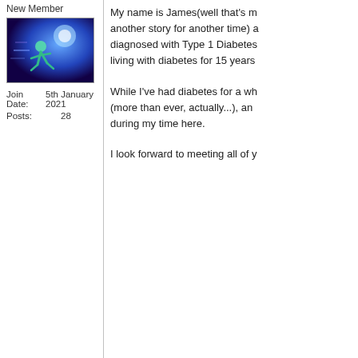New Member
[Figure (photo): Avatar image of a runner in blue/purple tones, running fast against a glowing background]
Join Date: 5th January 2021
Posts: 28
My name is James(well that's m... another story for another time) a... diagnosed with Type 1 Diabetes... living with diabetes for 15 years...
While I've had diabetes for a wh... (more than ever, actually...), an... during my time here.
I look forward to meeting all of y...
01-14-21
Julieanne
Moderator
[Figure (illustration): Avatar showing Libra scales zodiac sign on green circular background, from ClipArtOl.com/72532]
Join Date: 18th April 2011
Location: Roleystone, Western Australia
Re: Hi
Welcome to HH James. I hope you here. Are you on medication... naturally?